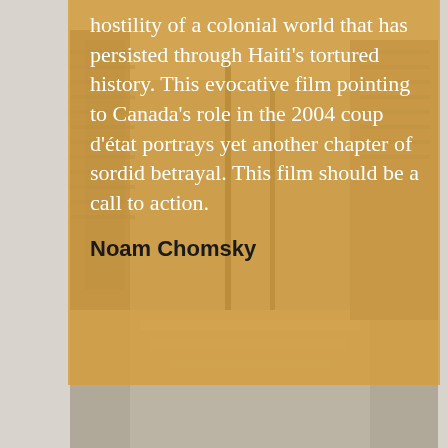[Figure (photo): Grayscale photograph of a street scene in Haiti with wooden structures and buildings, partially obscured by a golden/amber semi-transparent overlay rectangle.]
hostility of a colonial world that has persisted through Haiti's tortured history. This evocative film pointing to Canada's role in the 2004 coup d'état portrays yet another chapter of sordid betrayal. This film should be a call to action.
Noam Chomsky